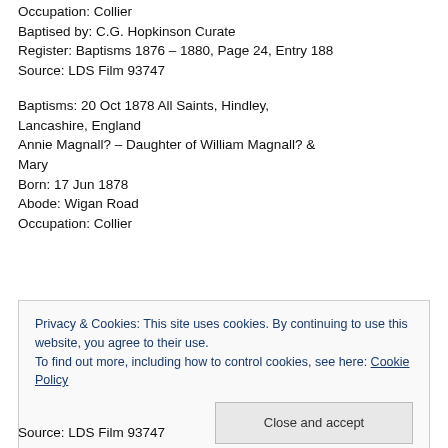Occupation: Collier
Baptised by: C.G. Hopkinson Curate
Register: Baptisms 1876 – 1880, Page 24, Entry 188
Source: LDS Film 93747
Baptisms: 20 Oct 1878 All Saints, Hindley, Lancashire, England
Annie Magnall? – Daughter of William Magnall? & Mary
Born: 17 Jun 1878
Abode: Wigan Road
Occupation: Collier
Privacy & Cookies: This site uses cookies. By continuing to use this website, you agree to their use.
To find out more, including how to control cookies, see here: Cookie Policy
Source: LDS Film 93747